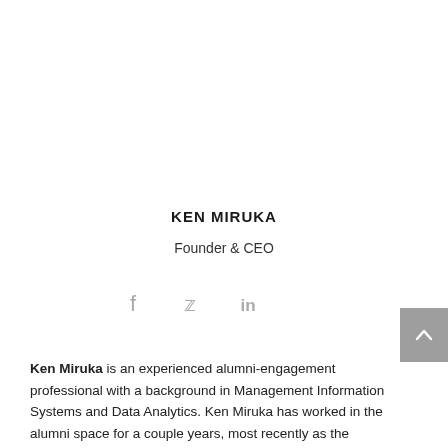KEN MIRUKA
Founder & CEO
[Figure (infographic): Social media icons: Facebook (f), Twitter (bird), LinkedIn (in) in gray]
Ken Miruka is an experienced alumni-engagement professional with a background in Management Information Systems and Data Analytics. Ken Miruka has worked in the alumni space for a couple years, most recently as the Executive Officer for the Old